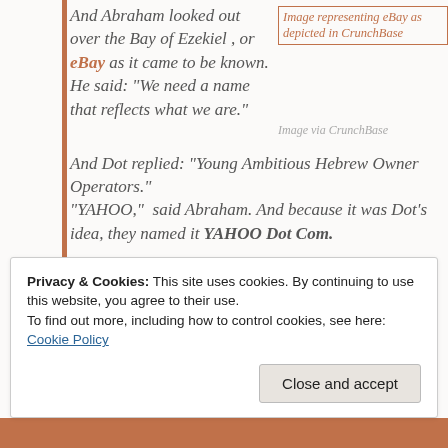And Abraham looked out over the Bay of Ezekiel , or eBay as it came to be known. He said: "We need a name that reflects what we are."
[Figure (other): Broken image placeholder labeled 'Image representing eBay as depicted in CrunchBase' with caption 'Image via CrunchBase']
Image via CrunchBase
And Dot replied: “Young Ambitious Hebrew Owner Operators.” “YAHOO,” said Abraham. And because it was Dot’s idea, they named it YAHOO Dot Com.
Privacy & Cookies: This site uses cookies. By continuing to use this website, you agree to their use.
To find out more, including how to control cookies, see here: Cookie Policy
Close and accept